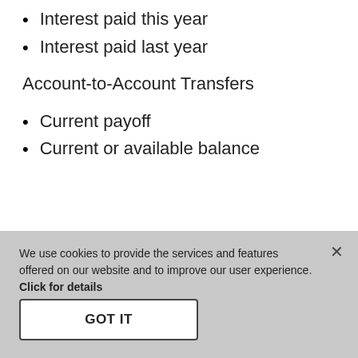Interest paid this year
Interest paid last year
Account-to-Account Transfers
Current payoff
Current or available balance
We use cookies to provide the services and features offered on our website and to improve our user experience.
Click for details
GOT IT